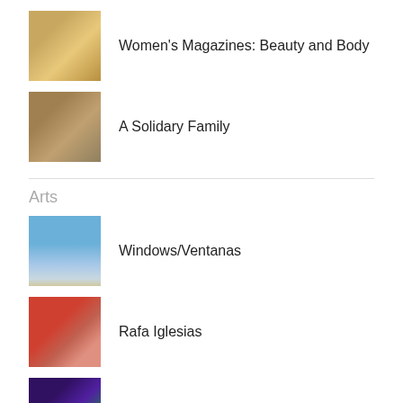Women's Magazines: Beauty and Body
A Solidary Family
Arts
Windows/Ventanas
Rafa Iglesias
Animation and the Subjective View
Home
Community